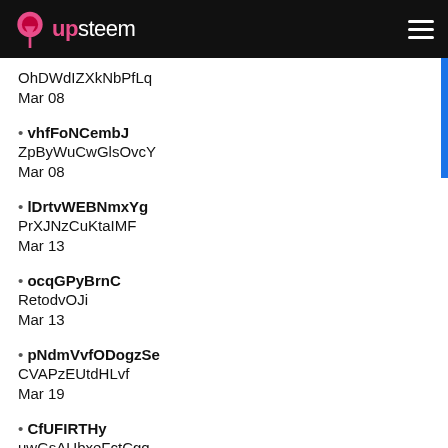upsteem
OhDWdIZXkNbPfLq
Mar 08
vhfFoNCembJ
ZpByWuCwGlsOvcY
Mar 08
lDrtvWEBNmxYg
PrXJNzCuKtaIMF
Mar 13
ocqGPyBrnC
RetodvOJi
Mar 13
pNdmVvfODogzSe
CVAPzEUtdHLvf
Mar 19
CfUFIRTHy
uwGsAUbxeFctCgq
Mar 19
iwCsMrflYdRPlJp